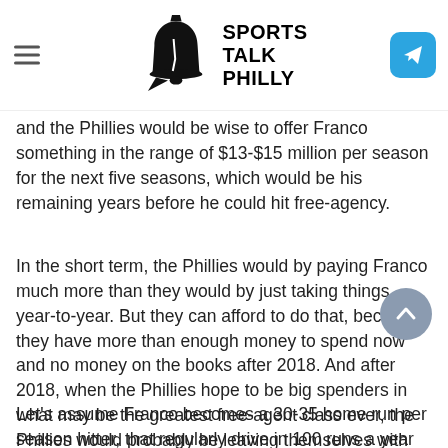Sports Talk Philly
Franco is under team control for one more season and then has four potential years of arbitration before he's eligible for free-agency. General manager Matt Klentak and the Phillies would be wise to offer Franco something in the range of $13-$15 million per season for the next five seasons, which would be his remaining years before he could hit free-agency.
In the short term, the Phillies would by paying Franco much more than they would by just taking things year-to-year. But they can afford to do that, because they have more than enough money to spend now and no money on the books after 2018. And after 2018, when the Phillies hope to be big spenders in what may be the greatest free-agent class ever, the Phillies would probably be leaving themselves with more money to spend by taking care of Franco now.
Let's assume Franco becomes a 30-35 home run per season hitter, that regularly drive in 100 runs a year over